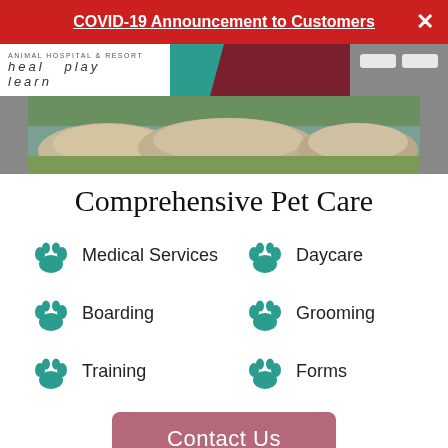COVID-19 Announcement to Customers
[Figure (photo): Animal Hospital & Resort hero banner with logo (heal, play, learn) and photo of dogs resting on large rocks outside a building]
Comprehensive Pet Care
Medical Services
Daycare
Boarding
Grooming
Training
Forms
Contact Us